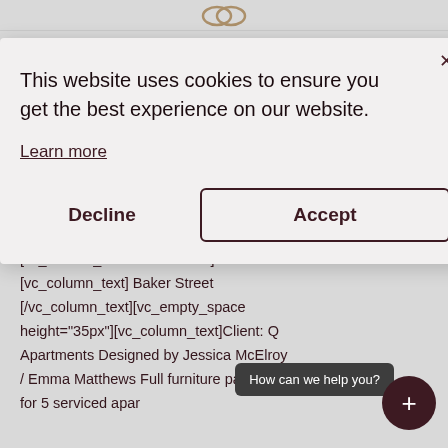[Figure (screenshot): Website navigation bar with logo at top]
[vc_column_inner width="1/2"] [vc_column_text] Baker Street [/vc_column_text][vc_empty_space height="35px"][vc_column_text]Client: Q Apartments Designed by Jessica McElroy / Emma Matthews Full furniture packs for 5 serviced apar
This website uses cookies to ensure you get the best experience on our website.
Learn more
Decline
Accept
How can we help you?